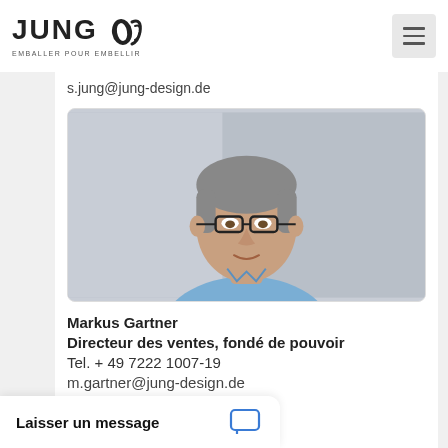JUNG · EMBALLER POUR EMBELLIR
s.jung@jung-design.de
[Figure (photo): Professional headshot of Markus Gartner, a middle-aged man with grey hair and black-rimmed glasses, wearing a light blue shirt, photographed against a light grey background.]
Markus Gartner
Directeur des ventes, fondé de pouvoir
Tel. + 49 7222 1007-19
m.gartner@jung-design.de
Laisser un message